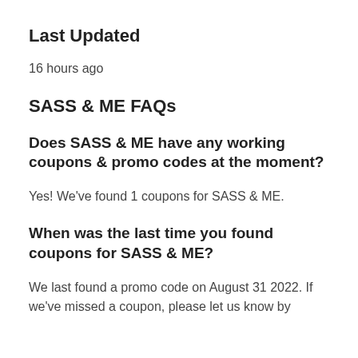Last Updated
16 hours ago
SASS & ME FAQs
Does SASS & ME have any working coupons & promo codes at the moment?
Yes! We've found 1 coupons for SASS & ME.
When was the last time you found coupons for SASS & ME?
We last found a promo code on August 31 2022. If we've missed a coupon, please let us know by